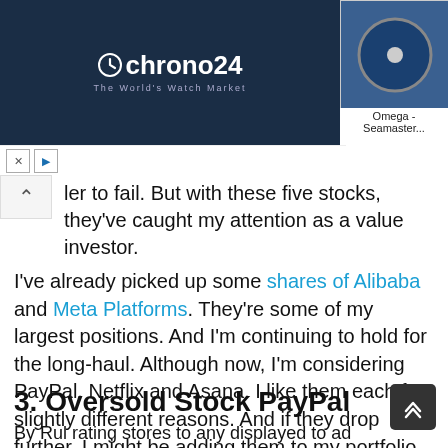[Figure (screenshot): Chrono24 advertisement banner showing watch brand logos (Omega Seamaster, Rolex Submariner, Rolex Daytona, Omega Seamaster) with product images and ad controls]
ler to fail. But with these five stocks, they've caught my attention as a value investor.
I've already picked up some shares of Alibaba and Meta Platforms. They're some of my largest positions. And I'm continuing to hold for the long-haul. Although now, I'm considering PayPal, Netflix and Asana. I like them each for slightly different reasons. And if they drop further, I might be adding them to my portfolio. So, let's take a closer look at why…
3. Oversold Stock PayPal
By Rul rating stores to any displayed to ad